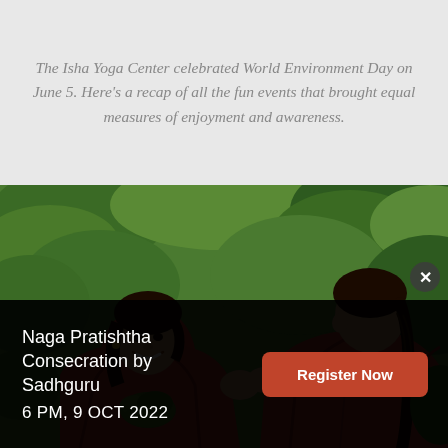The Isha Yoga Center celebrated World Environment Day on June 5. Here's a recap of all the fun events that brought equal measures of enjoyment and awareness.
[Figure (photo): Two women wearing red robes/shawls sitting outdoors in a lush green natural setting. The woman on the left is smiling and facing the camera, holding green herbs/plants. The woman on the right has her back partially turned, showing a long braid. Both are dressed in bright red fabric.]
Naga Pratishtha Consecration by Sadhguru
6 PM, 9 OCT 2022
Register Now